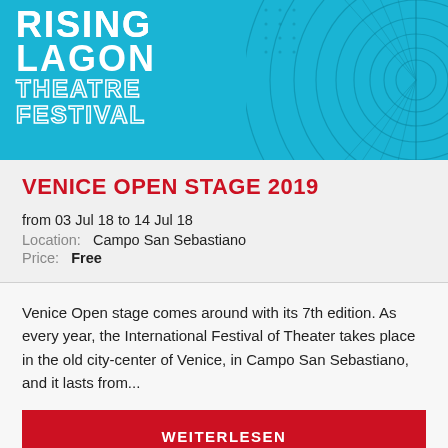[Figure (illustration): Rising Lagoon Theatre Festival banner with teal/blue background, bold white text logo, and decorative concentric wave circles on right side]
VENICE OPEN STAGE 2019
from 03 Jul 18 to 14 Jul 18
Location:  Campo San Sebastiano
Price:  Free
Venice Open stage comes around with its 7th edition. As every year, the International Festival of Theater takes place in the old city-center of Venice, in Campo San Sebastiano, and it lasts from...
WEITERLESEN